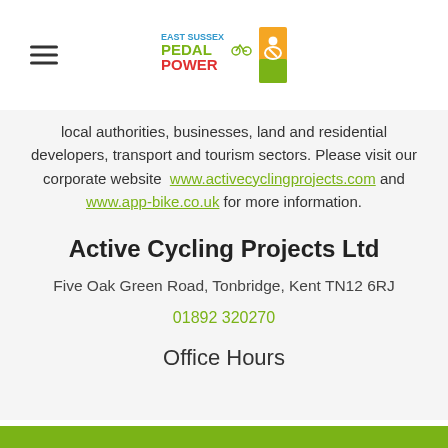[Figure (logo): East Sussex Pedal Power logo with cyclist icon, green and red text]
local authorities, businesses, land and residential developers, transport and tourism sectors. Please visit our corporate website www.activecyclingprojects.com and www.app-bike.co.uk for more information.
Active Cycling Projects Ltd
Five Oak Green Road, Tonbridge, Kent TN12 6RJ
01892 320270
Office Hours